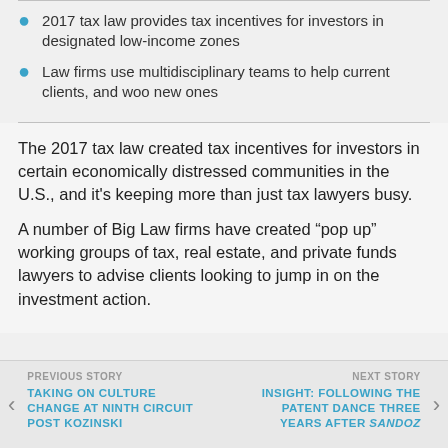2017 tax law provides tax incentives for investors in designated low-income zones
Law firms use multidisciplinary teams to help current clients, and woo new ones
The 2017 tax law created tax incentives for investors in certain economically distressed communities in the U.S., and it’s keeping more than just tax lawyers busy.
A number of Big Law firms have created “pop up” working groups of tax, real estate, and private funds lawyers to advise clients looking to jump in on the investment action.
PREVIOUS STORY
TAKING ON CULTURE CHANGE AT NINTH CIRCUIT POST KOZINSKI
NEXT STORY
INSIGHT: FOLLOWING THE PATENT DANCE THREE YEARS AFTER SANDOZ